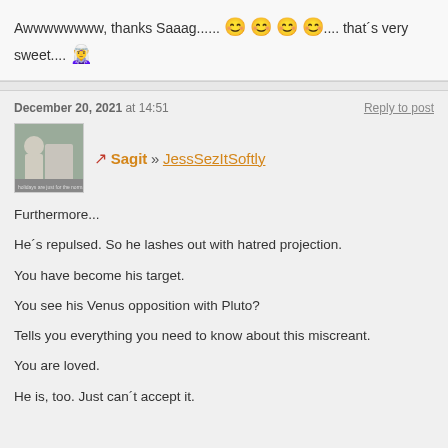Awwwwwwww, thanks Saaag...... 😊 😊 😊 😊.... that´s very sweet.... 🧚
December 20, 2021 at 14:51
Reply to post
♐ Sagit » JessSezItSoftly
Furthermore...
He´s repulsed. So he lashes out with hatred projection.
You have become his target.
You see his Venus opposition with Pluto?
Tells you everything you need to know about this miscreant.
You are loved.
He is, too. Just can´t accept it.